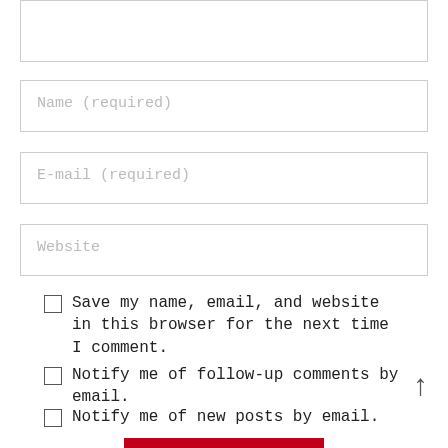[Figure (other): Top portion of a comment form text area (partially visible, cropped at top)]
Name (required)
E-mail (required)
Website
Save my name, email, and website in this browser for the next time I comment.
Notify me of follow-up comments by email.
Notify me of new posts by email.